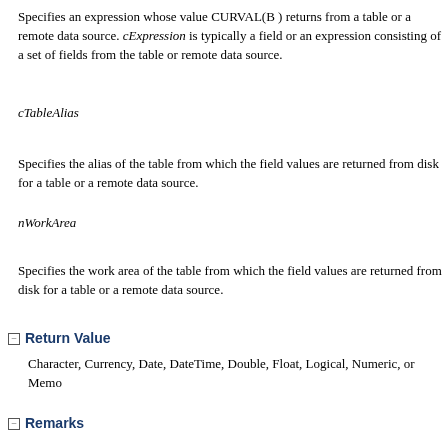Specifies an expression whose value CURVAL(B ) returns from a table or a remote data source. cExpression is typically a field or an expression consisting of a set of fields from the table or remote data source.
cTableAlias
Specifies the alias of the table from which the field values are returned from disk for a table or a remote data source.
nWorkArea
Specifies the work area of the table from which the field values are returned from disk for a table or a remote data source.
Return Value
Character, Currency, Date, DateTime, Double, Float, Logical, Numeric, or Memo
Remarks